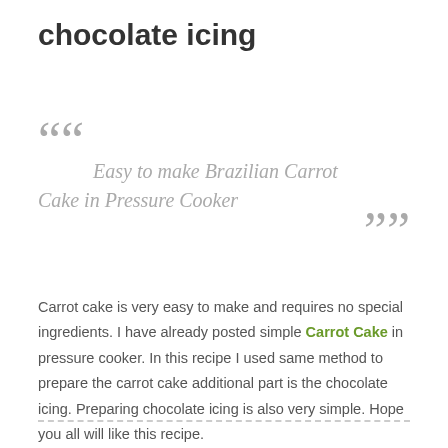chocolate icing
““ Easy to make Brazilian Carrot Cake in Pressure Cooker ””
Carrot cake is very easy to make and requires no special ingredients. I have already posted simple Carrot Cake in pressure cooker. In this recipe I used same method to prepare the carrot cake additional part is the chocolate icing. Preparing chocolate icing is also very simple. Hope you all will like this recipe.